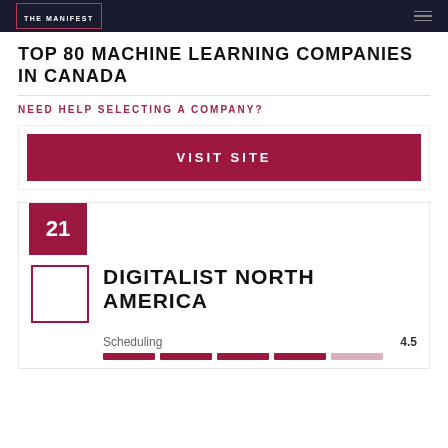THE MANIFEST
TOP 80 MACHINE LEARNING COMPANIES IN CANADA
NEED HELP SELECTING A COMPANY?
VISIT SITE
21
DIGITALIST NORTH AMERICA
Scheduling 4.5